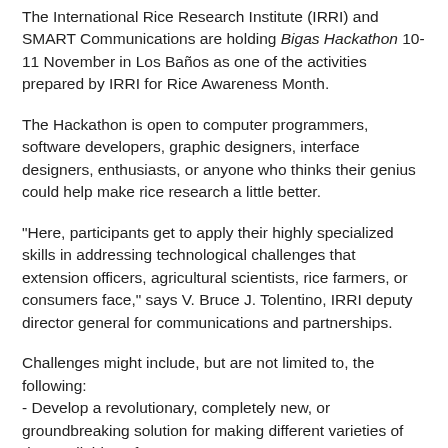The International Rice Research Institute (IRRI) and SMART Communications are holding Bigas Hackathon 10-11 November in Los Baños as one of the activities prepared by IRRI for Rice Awareness Month.
The Hackathon is open to computer programmers, software developers, graphic designers, interface designers, enthusiasts, or anyone who thinks their genius could help make rice research a little better.
"Here, participants get to apply their highly specialized skills in addressing technological challenges that extension officers, agricultural scientists, rice farmers, or consumers face," says V. Bruce J. Tolentino, IRRI deputy director general for communications and partnerships.
Challenges might include, but are not limited to, the following:
- Develop a revolutionary, completely new, or groundbreaking solution for making different varieties of rice available to farmers;
- Develop a rice consumer app that will provide users with